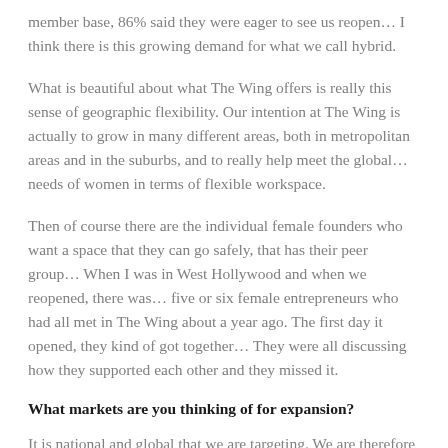member base, 86% said they were eager to see us reopen… I think there is this growing demand for what we call hybrid.
What is beautiful about what The Wing offers is really this sense of geographic flexibility. Our intention at The Wing is actually to grow in many different areas, both in metropolitan areas and in the suburbs, and to really help meet the global… needs of women in terms of flexible workspace.
Then of course there are the individual female founders who want a space that they can go safely, that has their peer group… When I was in West Hollywood and when we reopened, there was… five or six female entrepreneurs who had all met in The Wing about a year ago. The first day it opened, they kind of got together… They were all discussing how they supported each other and they missed it.
What markets are you thinking of for expansion?
It is national and global that we are targeting. We are therefore